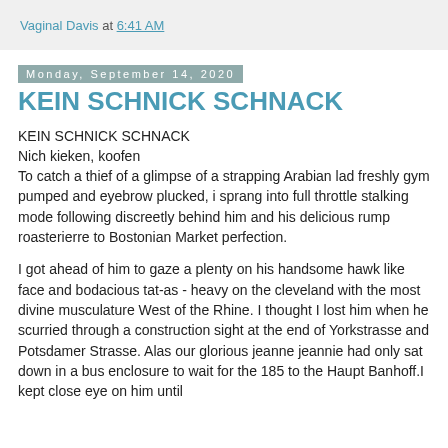Vaginal Davis at 6:41 AM
Monday, September 14, 2020
KEIN SCHNICK SCHNACK
KEIN SCHNICK SCHNACK
Nich kieken, koofen
To catch a thief of a glimpse of a strapping Arabian lad freshly gym pumped and eyebrow plucked, i sprang into full throttle stalking mode following discreetly behind him and his delicious rump roasterierre to Bostonian Market perfection.

I got ahead of him to gaze a plenty on his handsome hawk like face and bodacious tat-as - heavy on the cleveland with the most divine musculature West of the Rhine. I thought I lost him when he scurried through a construction sight at the end of Yorkstrasse and Potsdamer Strasse. Alas our glorious jeanne jeannie had only sat down in a bus enclosure to wait for the 185 to the Haupt Banhoff.I kept close eye on him until